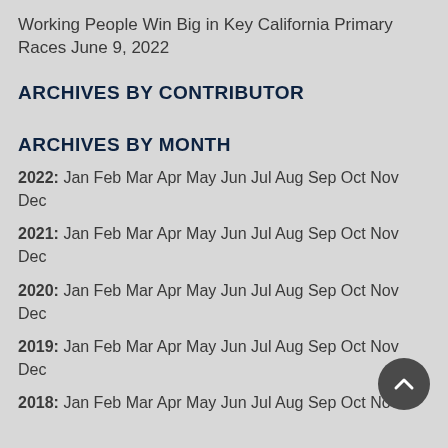Working People Win Big in Key California Primary Races June 9, 2022
ARCHIVES BY CONTRIBUTOR
ARCHIVES BY MONTH
2022: Jan Feb Mar Apr May Jun Jul Aug Sep Oct Nov Dec
2021: Jan Feb Mar Apr May Jun Jul Aug Sep Oct Nov Dec
2020: Jan Feb Mar Apr May Jun Jul Aug Sep Oct Nov Dec
2019: Jan Feb Mar Apr May Jun Jul Aug Sep Oct Nov Dec
2018: Jan Feb Mar Apr May Jun Jul Aug Sep Oct Nov